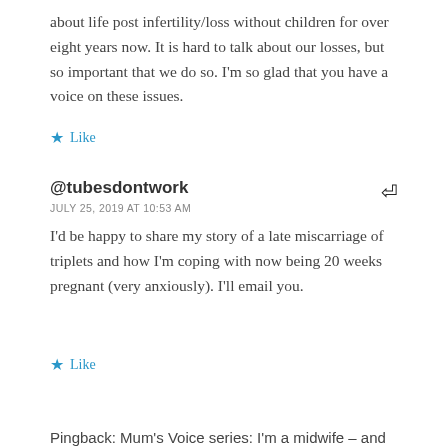about life post infertility/loss without children for over eight years now. It is hard to talk about our losses, but so important that we do so. I'm so glad that you have a voice on these issues.
★ Like
@tubesdontwork
JULY 25, 2019 AT 10:53 AM
I'd be happy to share my story of a late miscarriage of triplets and how I'm coping with now being 20 weeks pregnant (very anxiously). I'll email you.
★ Like
Pingback: Mum's Voice series: I'm a midwife – and